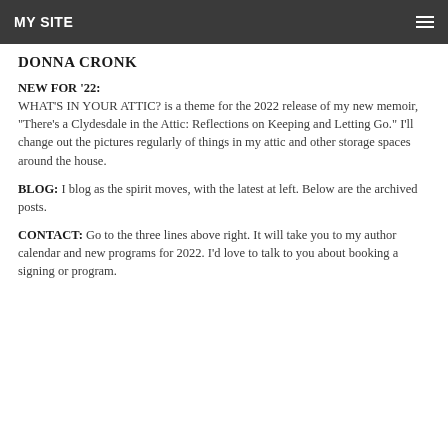MY SITE
DONNA CRONK
NEW FOR '22: WHAT'S IN YOUR ATTIC? is a theme for the 2022 release of my new memoir, "There's a Clydesdale in the Attic: Reflections on Keeping and Letting Go." I'll change out the pictures regularly of things in my attic and other storage spaces around the house.
BLOG: I blog as the spirit moves, with the latest at left. Below are the archived posts.
CONTACT: Go to the three lines above right. It will take you to my author calendar and new programs for 2022. I'd love to talk to you about booking a signing or program.